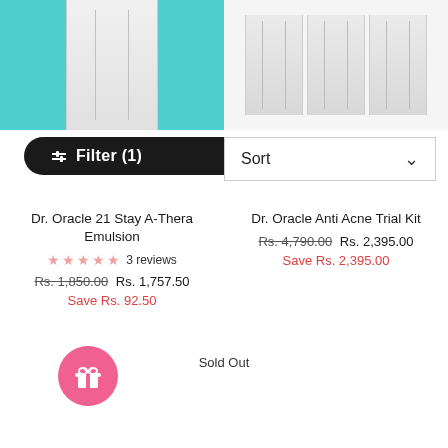[Figure (screenshot): E-commerce product listing page showing filter/sort bar and two product cards for Dr. Oracle skincare products]
Filter (1)
Sort
Dr. Oracle 21 Stay A-Thera Emulsion
3 reviews
Rs. 1,850.00  Rs. 1,757.50
Save Rs. 92.50
Dr. Oracle Anti Acne Trial Kit
Rs. 4,790.00  Rs. 2,395.00
Save Rs. 2,395.00
Sold Out